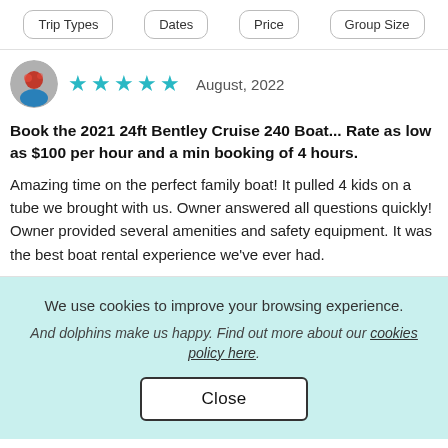Trip Types | Dates | Price | Group Size
[Figure (photo): Circular avatar photo of a person]
★★★★★  August, 2022
Book the 2021 24ft Bentley Cruise 240 Boat... Rate as low as $100 per hour and a min booking of 4 hours.
Amazing time on the perfect family boat! It pulled 4 kids on a tube we brought with us. Owner answered all questions quickly! Owner provided several amenities and safety equipment. It was the best boat rental experience we've ever had.
We use cookies to improve your browsing experience.
And dolphins make us happy. Find out more about our cookies policy here.
Close